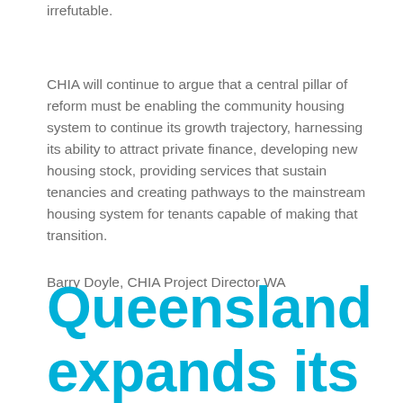irrefutable.
CHIA will continue to argue that a central pillar of reform must be enabling the community housing system to continue its growth trajectory, harnessing its ability to attract private finance, developing new housing stock, providing services that sustain tenancies and creating pathways to the mainstream housing system for tenants capable of making that transition.
Barry Doyle, CHIA Project Director WA
Queensland expands its